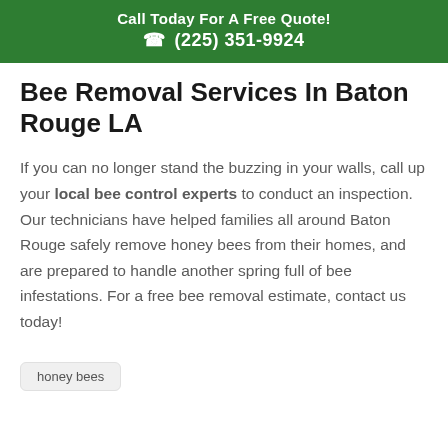Call Today For A Free Quote!
☎ (225) 351-9924
Bee Removal Services In Baton Rouge LA
If you can no longer stand the buzzing in your walls, call up your local bee control experts to conduct an inspection. Our technicians have helped families all around Baton Rouge safely remove honey bees from their homes, and are prepared to handle another spring full of bee infestations. For a free bee removal estimate, contact us today!
honey bees